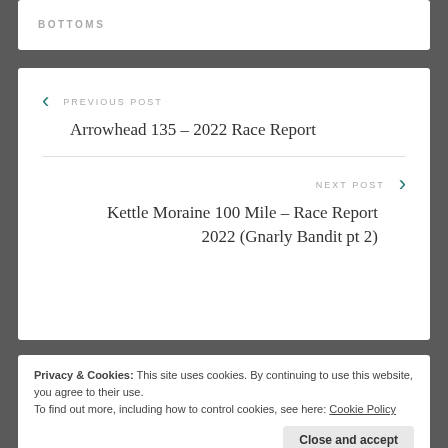BOTTOMS
PREVIOUS POST
Arrowhead 135 – 2022 Race Report
NEXT POST
Kettle Moraine 100 Mile – Race Report 2022 (Gnarly Bandit pt 2)
Privacy & Cookies: This site uses cookies. By continuing to use this website, you agree to their use.
To find out more, including how to control cookies, see here: Cookie Policy
Close and accept